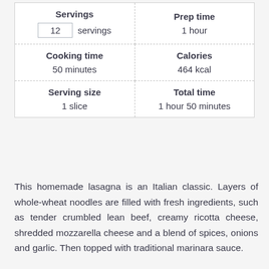| Servings | Prep time |
| --- | --- |
| 12 servings | 1 hour |
| Cooking time
50 minutes | Calories
464 kcal |
| Serving size
1 slice | Total time
1 hour 50 minutes |
This homemade lasagna is an Italian classic. Layers of whole-wheat noodles are filled with fresh ingredients, such as tender crumbled lean beef, creamy ricotta cheese, shredded mozzarella cheese and a blend of spices, onions and garlic. Then topped with traditional marinara sauce.